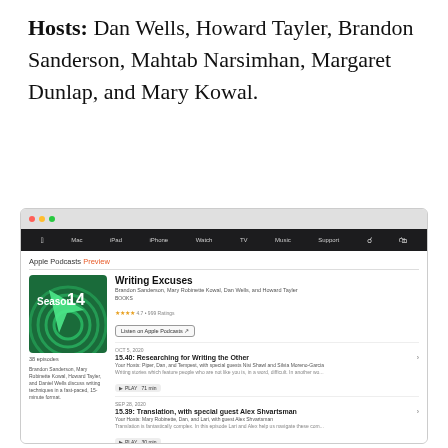Hosts: Dan Wells, Howard Tayler, Brandon Sanderson, Mahtab Narsimhan, Margaret Dunlap, and Mary Kowal.
[Figure (screenshot): Screenshot of Apple Podcasts page showing 'Writing Excuses' Season 14 podcast with episode listings including 15.40: Researching for Writing the Other, 15.39: Translation with special guest Alex Shvartsman, and 15.38: Depicting Religions That Are Not Your Own]